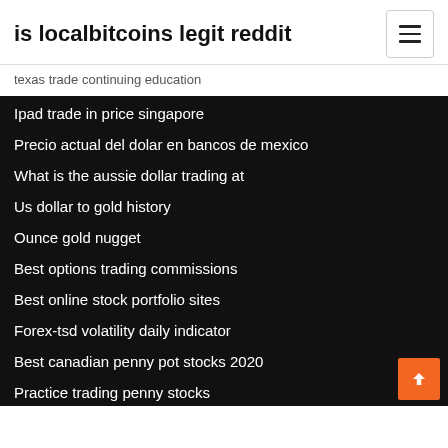is localbitcoins legit reddit
texas trade continuing education
Ipad trade in price singapore
Precio actual del dolar en bancos de mexico
What is the aussie dollar trading at
Us dollar to gold history
Ounce gold nugget
Best options trading commissions
Best online stock portfolio sites
Forex-tsd volatility daily indicator
Best canadian penny pot stocks 2020
Practice trading penny stocks